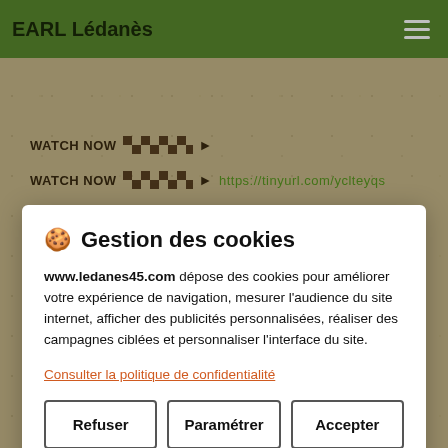EARL Lédanès
[Figure (screenshot): Background page with 'WATCH NOW' repeated rows with checkered pattern and green links to https://tinyurl.com/yclteyqs]
🍪 Gestion des cookies
www.ledanes45.com dépose des cookies pour améliorer votre expérience de navigation, mesurer l'audience du site internet, afficher des publicités personnalisées, réaliser des campagnes ciblées et personnaliser l'interface du site.
Consulter la politique de confidentialité
Refuser
Paramétrer
Accepter